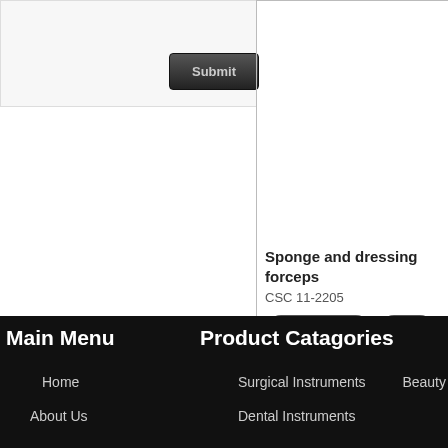[Figure (screenshot): Submit button area with light gray form background]
[Figure (screenshot): Product card for Sponge and dressing forceps with Add to basket and Info buttons]
Sponge and dressing forceps
CSC 11-2205
Main Menu
Product Catagories
Home
About Us
Surgical Instruments
Dental Instruments
Beauty